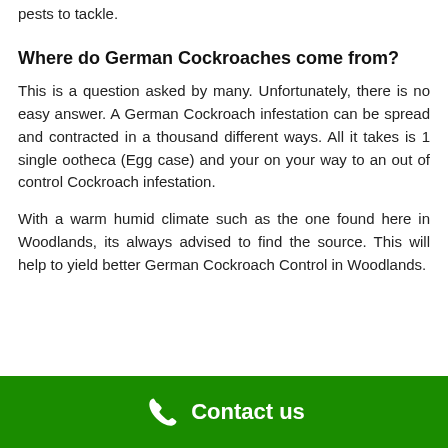pests to tackle.
Where do German Cockroaches come from?
This is a question asked by many. Unfortunately, there is no easy answer. A German Cockroach infestation can be spread and contracted in a thousand different ways. All it takes is 1 single ootheca (Egg case) and your on your way to an out of control Cockroach infestation.
With a warm humid climate such as the one found here in Woodlands, its always advised to find the source. This will help to yield better German Cockroach Control in Woodlands.
Contact us